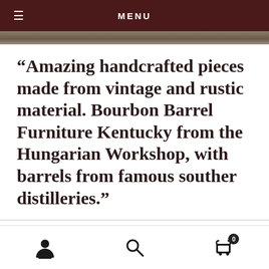MENU
“Amazing handcrafted pieces made from vintage and rustic material. Bourbon Barrel Furniture Kentucky from the Hungarian Workshop, with barrels from famous souther distilleries.”
user icon, search icon, cart icon with badge 0